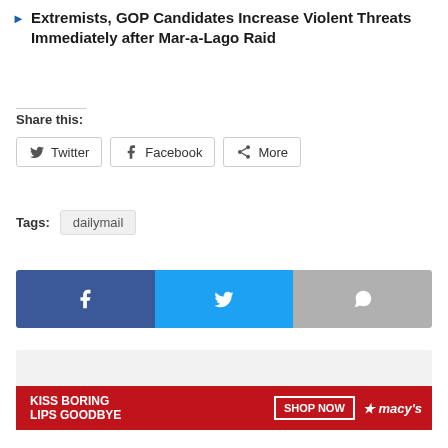Extremists, GOP Candidates Increase Violent Threats Immediately after Mar-a-Lago Raid
Share this:
Twitter
Facebook
More
Tags: dailymail
[Figure (infographic): Social sharing buttons bar: Facebook (blue), Twitter (light blue), Share (gray)]
[Figure (infographic): Advertisement placeholder area with CLOSE button and Macy's ad banner at bottom reading KISS BORING LIPS GOODBYE SHOP NOW macy's]